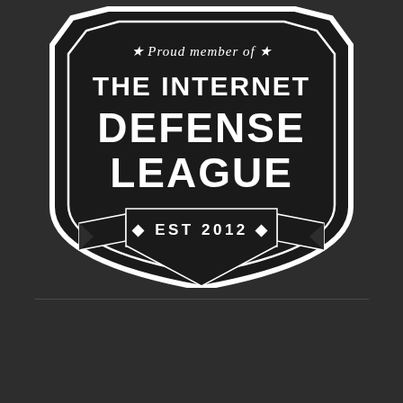[Figure (logo): Internet Defense League badge/shield logo. Black shield shape with white text: 'Proud member of' at top with stars, then 'THE INTERNET DEFENSE LEAGUE' in large bold text, and '• EST 2012 •' at the bottom on a banner ribbon. Dark charcoal background.]
FOLLOW BLOG VIA EMAIL
Enter your email address to follow this blog & receive notifications of new posts by email.